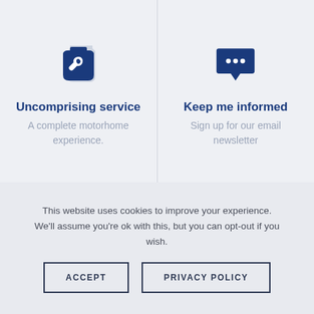[Figure (illustration): Dark blue wrench/service tag icon]
Uncomprising service
A complete motorhome experience.
[Figure (illustration): Dark blue speech bubble with three dots icon]
Keep me informed
Sign up for our email newsletter
This website uses cookies to improve your experience. We'll assume you're ok with this, but you can opt-out if you wish.
ACCEPT
PRIVACY POLICY